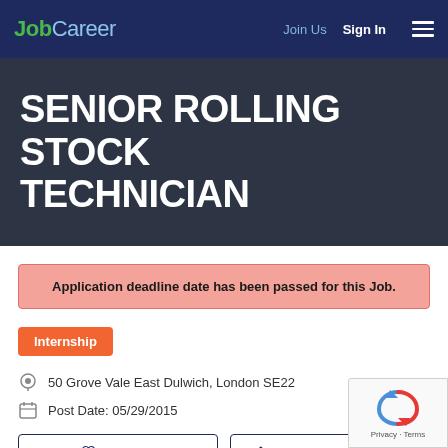JobCareer — Join Us   Sign In
SENIOR ROLLING STOCK TECHNICIAN
Application deadline date has been passed for this Job.
Internship
50 Grove Vale East Dulwich, London SE22
Post Date: 05/29/2015
Shortlist   Apply with LinkedIn